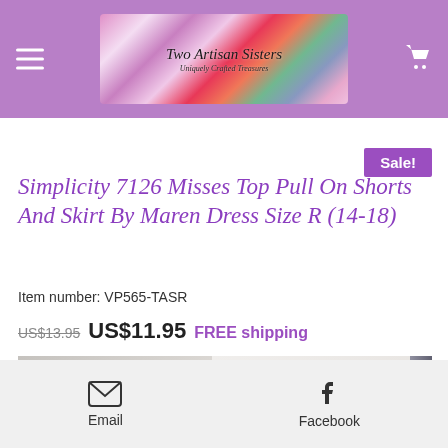Two Artisan Sisters — Uniquely Crafted Treasures
Simplicity 7126 Misses Top Pull On Shorts And Skirt By Maren Dress Size R (14-18)
Item number: VP565-TASR
US$13.95 US$11.95 FREE shipping
[Figure (photo): Simplicity pattern 7126 in packaging showing number 7126, size R 14,16,18 text, measurement details, barcode, and large Simplicity logo text]
Email  Facebook